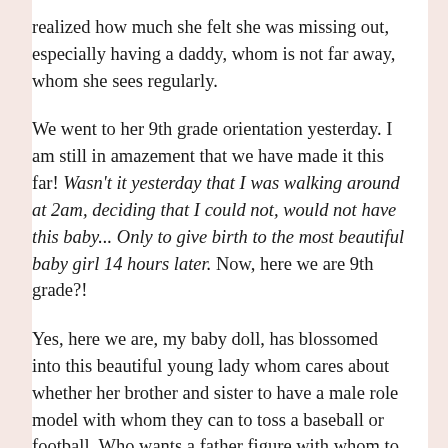realized how much she felt she was missing out, especially having a daddy, whom is not far away, whom she sees regularly.
We went to her 9th grade orientation yesterday. I am still in amazement that we have made it this far! Wasn't it yesterday that I was walking around at 2am, deciding that I could not, would not have this baby... Only to give birth to the most beautiful baby girl 14 hours later. Now, here we are 9th grade?!
Yes, here we are, my baby doll, has blossomed into this beautiful young lady whom cares about whether her brother and sister to have a male role model with whom they can to toss a baseball or football. Who wants a father figure with whom to jog around the